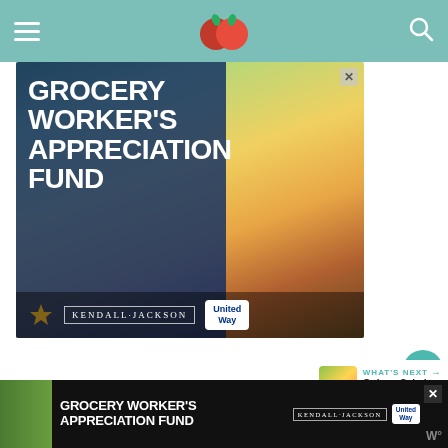[Figure (photo): Grocery Worker's Appreciation Fund advertisement banner featuring a smiling young male grocery worker in a supermarket produce section, with Kendall-Jackson and United Way logos]
[Figure (infographic): Heart/like button showing 290 likes, and share button]
[Figure (photo): What's Next preview thumbnail for Quinoa Salad with Roaste...]
[Figure (photo): Bottom banner ad: Grocery Worker's Appreciation Fund with Kendall-Jackson and United Way logos on dark background]